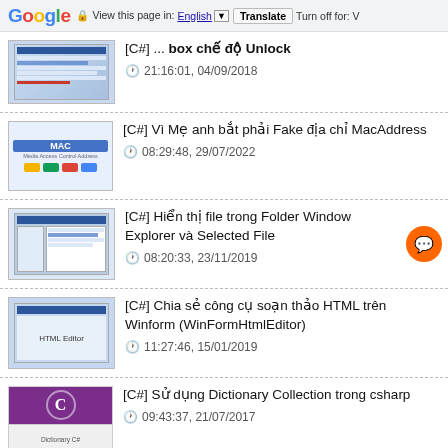Google | View this page in: English | Translate | Turn off for: V
[C#] ... box chế độ Unlock
21:16:01, 04/09/2018
[C#] Vì Mẹ anh bắt phải Fake địa chỉ MacAddress
08:29:48, 29/07/2022
[C#] Hiển thị file trong Folder Window Explorer và Selected File
08:20:33, 23/11/2019
[C#] Chia sẻ công cụ soạn thảo HTML trên Winform (WinFormHtmlEditor)
11:27:46, 15/01/2019
[C#] Sử dụng Dictionary Collection trong csharp
09:43:37, 21/07/2017
[C#] Hướng dẫn lấy thông tin user account windows sử dụng WMI